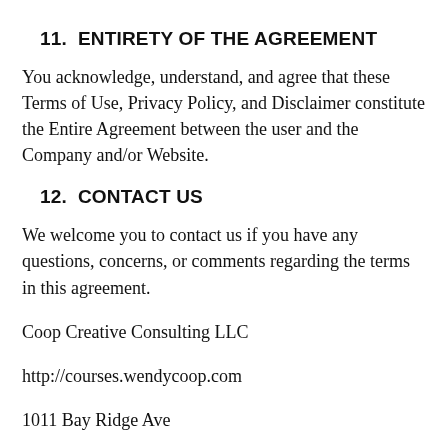11.  ENTIRETY OF THE AGREEMENT
You acknowledge, understand, and agree that these Terms of Use, Privacy Policy, and Disclaimer constitute the Entire Agreement between the user and the Company and/or Website.
12.  CONTACT US
We welcome you to contact us if you have any questions, concerns, or comments regarding the terms in this agreement.
Coop Creative Consulting LLC
http://courses.wendycoop.com
1011 Bay Ridge Ave